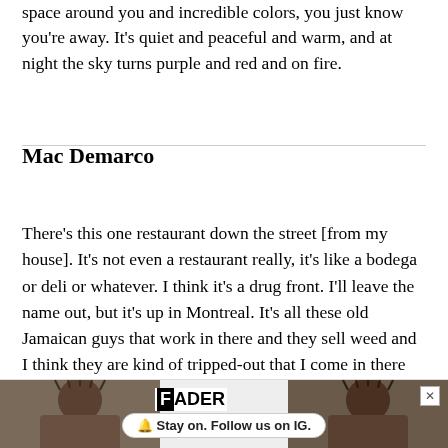space around you and incredible colors, you just know you're away. It's quiet and peaceful and warm, and at night the sky turns purple and red and on fire.
Mac Demarco
There's this one restaurant down the street [from my house]. It's not even a restaurant really, it's like a bodega or deli or whatever. I think it's a drug front. I'll leave the name out, but it's up in Montreal. It's all these old Jamaican guys that work in there and they sell weed and I think they are kind of tripped-out that I come in there and order. They make rotis and they are really good. It's kind of funny to them, cause I never buy weed cause I don't really smoke weed and I always want to eat in there. They have these huge flat-screen TVs
[Figure (other): FADER advertisement banner with photo of two people with dreadlocks and text 'Stay on. Follow us on IG.']